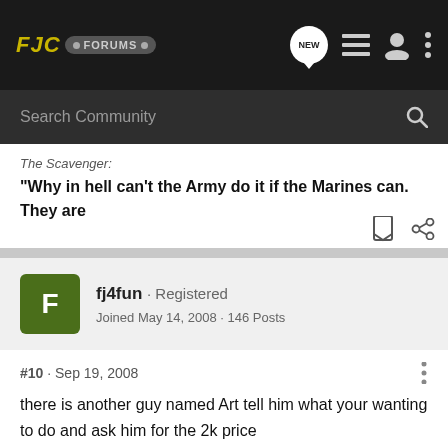FJC FORUMS
Search Community
The Scavenger: "Why in hell can't the Army do it if the Marines can. They are
fj4fun · Registered
Joined May 14, 2008 · 146 Posts
#10 · Sep 19, 2008
there is another guy named Art tell him what your wanting to do and ask him for the 2k price